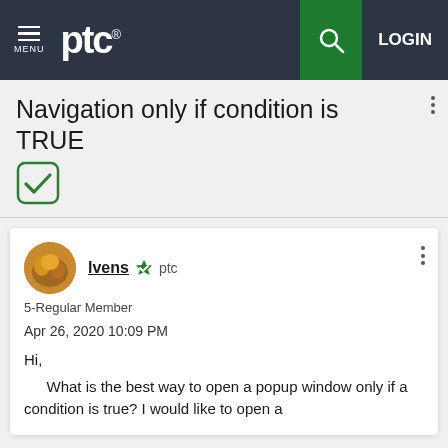MENU  ptc®  [search] LOGIN
Navigation only if condition is TRUE
[Figure (illustration): Green checkmark icon in a rounded square]
Ivens  ptc   5-Regular Member   Apr 26, 2020 10:09 PM   Hi,   What is the best way to open a popup window only if a condition is true? I would like to open a